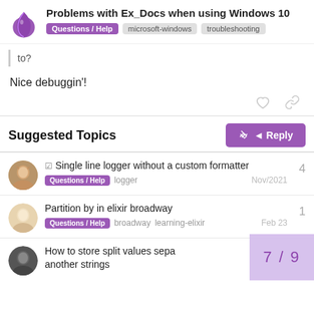Problems with Ex_Docs when using Windows 10 | Questions / Help | microsoft-windows | troubleshooting
to?
Nice debuggin'!
Suggested Topics
Single line logger without a custom formatter — Questions / Help  logger — Nov/2021 — 4
Partition by in elixir broadway — Questions / Help  broadway  learning-elixir — Feb 23 — 1
How to store split values sepa another strings